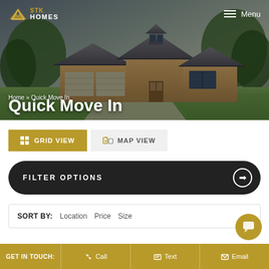[Figure (screenshot): STK Homes website hero image showing a brick ranch house rendering with green landscaping and dark cloudy sky background]
STK HOMES  Menu
Home » Quick Move In
Quick Move In
GRID VIEW
MAP VIEW
FILTER OPTIONS
SORT BY: Location  Price  Size
GET IN TOUCH:  Call  Text  Email